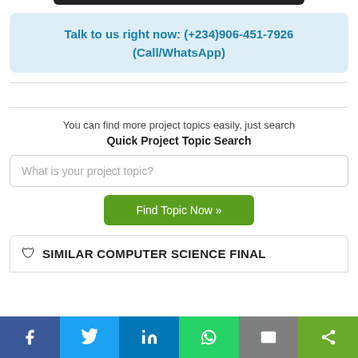Talk to us right now: (+234)906-451-7926 (Call/WhatsApp)
You can find more project topics easily, just search
Quick Project Topic Search
What is your project topic?
Find Topic Now »
SIMILAR COMPUTER SCIENCE FINAL